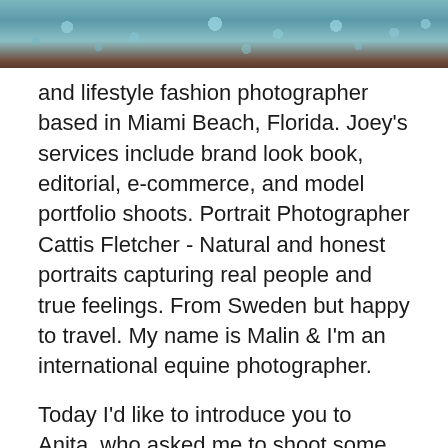[Figure (photo): Close-up photo of water droplets or bubbles on a surface, teal and blue tones with brown/dark lower portion]
and lifestyle fashion photographer based in Miami Beach, Florida. Joey's services include brand look book, editorial, e-commerce, and model portfolio shoots. Portrait Photographer Cattis Fletcher - Natural and honest portraits capturing real people and true feelings. From Sweden but happy to travel. My name is Malin & I'm an international equine photographer.
Today I'd like to introduce you to Anita, who asked me to shoot some photos for use in her Professional Portraits and Modeling Portfolio by Alessandro Della Savia, photographer in Milan. Available in Italy and abroad. Contact us! 26 Aug 2020 BOSTON & NYC MODEL PORTFOLIO PHOTOGRAPHY